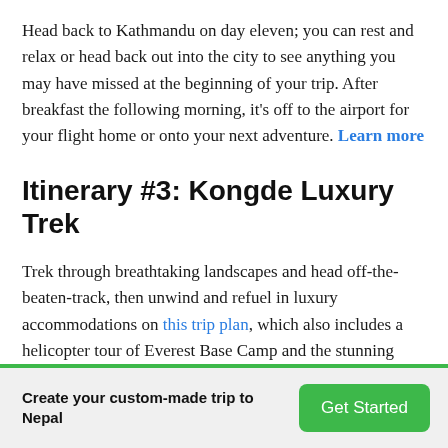Head back to Kathmandu on day eleven; you can rest and relax or head back out into the city to see anything you may have missed at the beginning of your trip. After breakfast the following morning, it's off to the airport for your flight home or onto your next adventure. Learn more
Itinerary #3: Kongde Luxury Trek
Trek through breathtaking landscapes and head off-the-beaten-track, then unwind and refuel in luxury accommodations on this trip plan, which also includes a helicopter tour of Everest Base Camp and the stunning Khumbu Icefall. Hike through forests and lush valleys, over thrilling suspension bridges and a glacier to summit Kongde Peak, where phenomenal panoramas of the Himalaya await
Create your custom-made trip to Nepal